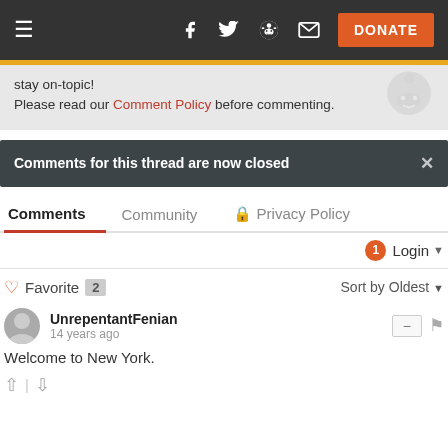Navigation bar with hamburger menu, social icons (Facebook, Twitter, Reddit, Email), and DONATE button
stay on-topic!
Please read our Comment Policy before commenting.
Comments for this thread are now closed
Comments  Community  Privacy Policy
Login
Favorite 2    Sort by Oldest
UnrepentantFenian
14 years ago
Welcome to New York.